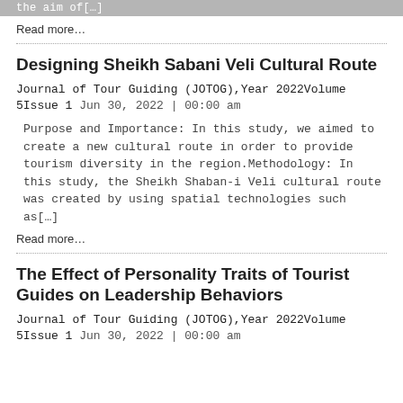…the aim of[…]
Read more…
Designing Sheikh Sabani Veli Cultural Route
Journal of Tour Guiding (JOTOG),Year 2022Volume 5Issue 1 Jun 30, 2022 | 00:00 am
Purpose and Importance: In this study, we aimed to create a new cultural route in order to provide tourism diversity in the region.Methodology: In this study, the Sheikh Shaban-i Veli cultural route was created by using spatial technologies such as[…]
Read more…
The Effect of Personality Traits of Tourist Guides on Leadership Behaviors
Journal of Tour Guiding (JOTOG),Year 2022Volume 5Issue 1 Jun 30, 2022 | 00:00 am